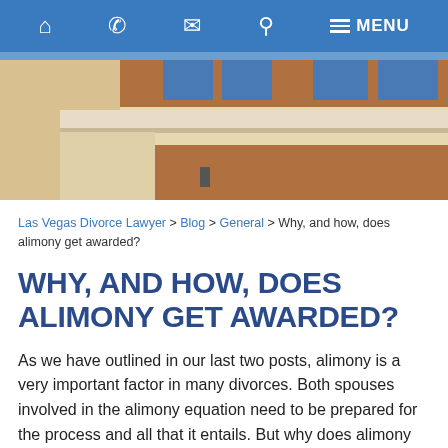[Figure (screenshot): Website navigation bar with blue background showing home, phone, email, search, and menu icons]
[Figure (photo): Exterior photo of a modern building with terracotta/tan facade and blue windows]
Las Vegas Divorce Lawyer > Blog > General > Why, and how, does alimony get awarded?
WHY, AND HOW, DOES ALIMONY GET AWARDED?
As we have outlined in our last two posts, alimony is a very important factor in many divorces. Both spouses involved in the alimony equation need to be prepared for the process and all that it entails. But why does alimony